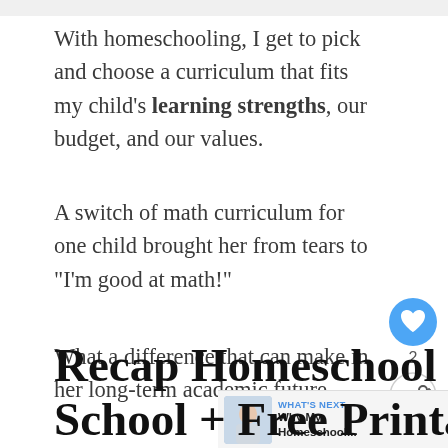With homeschooling, I get to pick and choose a curriculum that fits my child's learning strengths, our budget, and our values.
A switch of math curriculum for one child brought her from tears to “I’m good at math!”
What a difference that can make in her long-term academic future.
[Figure (infographic): Social share widget with heart icon (blue circle with white heart) showing count of 2, and a share button below it]
[Figure (infographic): WHAT'S NEXT arrow bar with thumbnail image and text 'Why My Homeschool...']
Recap Homeschool vs. C School + Free Printable